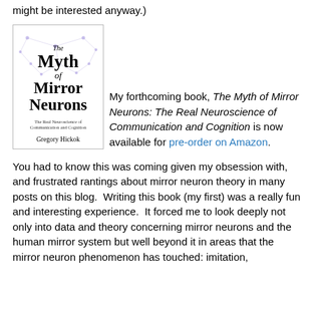might be interested anyway.)
[Figure (illustration): Book cover of 'The Myth of Mirror Neurons: The Real Neuroscience of Communication and Cognition' by Gregory Hickok, with neural network imagery in purple/blue on a white background.]
My forthcoming book, The Myth of Mirror Neurons: The Real Neuroscience of Communication and Cognition is now available for pre-order on Amazon.
You had to know this was coming given my obsession with, and frustrated rantings about mirror neuron theory in many posts on this blog.  Writing this book (my first) was a really fun and interesting experience.  It forced me to look deeply not only into data and theory concerning mirror neurons and the human mirror system but well beyond it in areas that the mirror neuron phenomenon has touched: imitation,